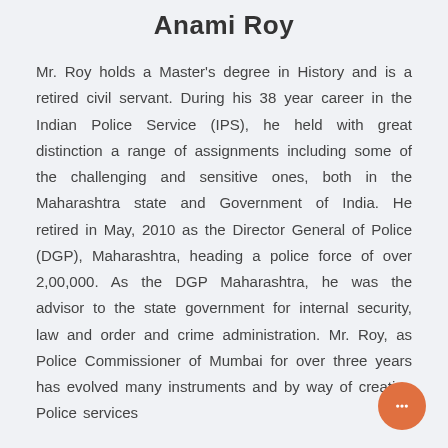Anami Roy
Mr. Roy holds a Master's degree in History and is a retired civil servant. During his 38 year career in the Indian Police Service (IPS), he held with great distinction a range of assignments including some of the challenging and sensitive ones, both in the Maharashtra state and Government of India. He retired in May, 2010 as the Director General of Police (DGP), Maharashtra, heading a police force of over 2,00,000. As the DGP Maharashtra, he was the advisor to the state government for internal security, law and order and crime administration. Mr. Roy, as Police Commissioner of Mumbai for over three years has evolved many instruments and by way of creating Police services